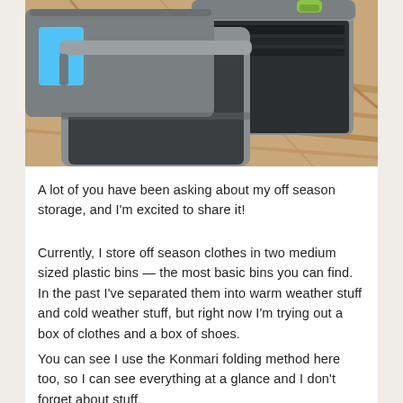[Figure (photo): Gray plastic storage bins with green locking clips on a wood floor, viewed from above at an angle. One bin has a blue label on the lid.]
A lot of you have been asking about my off season storage, and I'm excited to share it!
Currently, I store off season clothes in two medium sized plastic bins — the most basic bins you can find. In the past I've separated them into warm weather stuff and cold weather stuff, but right now I'm trying out a box of clothes and a box of shoes.
You can see I use the Konmari folding method here too, so I can see everything at a glance and I don't forget about stuff.